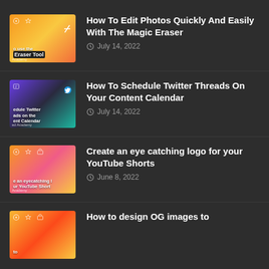How To Edit Photos Quickly And Easily With The Magic Eraser — July 14, 2022
How To Schedule Twitter Threads On Your Content Calendar — July 14, 2022
Create an eye catching logo for your YouTube Shorts — June 8, 2022
How to design OG images to